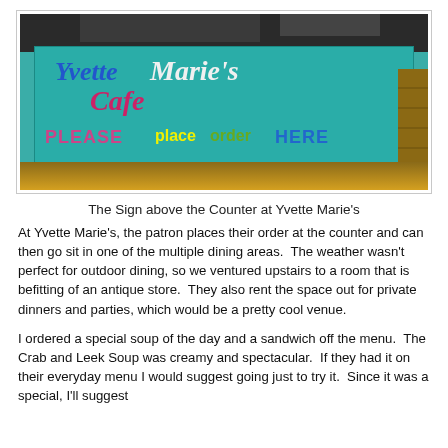[Figure (photo): Photo of a painted teal sign above a cafe counter reading 'Yvette Marie's Cafe' and 'PLEASE place order HERE' in colorful lettering, mounted near a dark ceiling with wooden panels and warm lighting below.]
The Sign above the Counter at Yvette Marie's
At Yvette Marie's, the patron places their order at the counter and can then go sit in one of the multiple dining areas.  The weather wasn't perfect for outdoor dining, so we ventured upstairs to a room that is befitting of an antique store.  They also rent the space out for private dinners and parties, which would be a pretty cool venue.
I ordered a special soup of the day and a sandwich off the menu.  The Crab and Leek Soup was creamy and spectacular.  If they had it on their everyday menu I would suggest going just to try it.  Since it was a special, I'll suggest